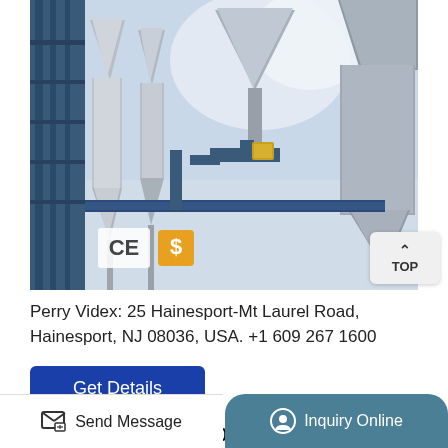[Figure (photo): Industrial pneumatic conveying equipment — stainless steel cyclone separators and blower tanks with blue structural framework, CE and dollar certification badges visible in lower left corner]
Perry Videx: 25 Hainesport-Mt Laurel Road, Hainesport, NJ 08036, USA. +1 609 267 1600
Get Details
Campbell Hausfeld 20 Gal. Electric Air
Send Message
Inquiry Online